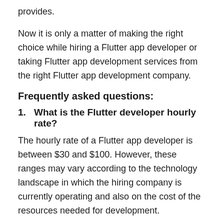provides.
Now it is only a matter of making the right choice while hiring a Flutter app developer or taking Flutter app development services from the right Flutter app development company.
Frequently asked questions:
1. What is the Flutter developer hourly rate?
The hourly rate of a Flutter app developer is between $30 and $100. However, these ranges may vary according to the technology landscape in which the hiring company is currently operating and also on the cost of the resources needed for development.